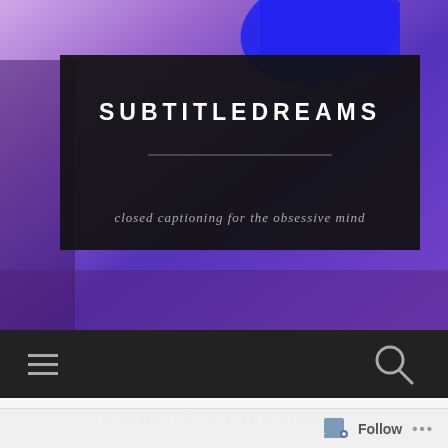[Figure (screenshot): Hero banner with purple/blue tinted background image showing a silhouette figure on the left and decorative architecture, with a blue brush stroke at top center.]
SUBTITLEDREAMS
closed captioning for the obsessive mind
[Figure (screenshot): Dark navigation bar with hamburger menu icon on the left and search magnifying glass icon on the right.]
WHERE YOUR EYES LINGER
Follow ...